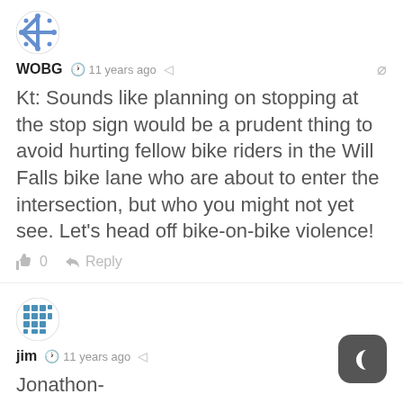[Figure (illustration): Blue snowflake/geometric avatar for user WOBG]
WOBG  11 years ago
Kt: Sounds like planning on stopping at the stop sign would be a prudent thing to avoid hurting fellow bike riders in the Will Falls bike lane who are about to enter the intersection, but who you might not yet see. Let’s head off bike-on-bike violence!
0   Reply
[Figure (illustration): Blue grid/mosaic avatar for user jim]
jim  11 years ago
Jonathon-
What is the point of your story? Is it that cyclists should not do stupid things? or maybe they should follow trafic laws?